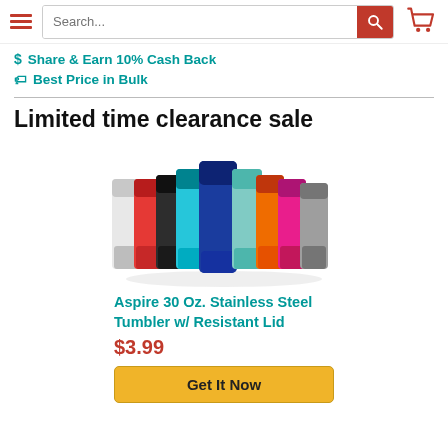Navigation header with hamburger menu, search bar, and cart icon
$ Share & Earn 10% Cash Back
Best Price in Bulk
Limited time clearance sale
[Figure (photo): Group of colorful stainless steel tumblers in various colors: white, red, black, teal/light blue, dark blue (center), mint green, orange, pink, gray]
Aspire 30 Oz. Stainless Steel Tumbler w/ Resistant Lid
$3.99
Get It Now